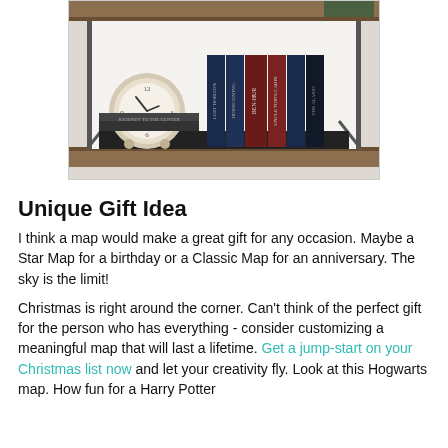[Figure (photo): A wooden bookshelf with a vintage analog clock on the left and a row of classic hardcover books on the right, including titles like Ben-Hur, Uncle Tom's Cabin, and others. There is a wooden shelf bracket visible.]
Unique Gift Idea
I think a map would make a great gift for any occasion. Maybe a Star Map for a birthday or a Classic Map for an anniversary. The sky is the limit!
Christmas is right around the corner. Can't think of the perfect gift for the person who has everything - consider customizing a meaningful map that will last a lifetime. Get a jump-start on your Christmas list now and let your creativity fly. Look at this Hogwarts map. How fun for a Harry Potter